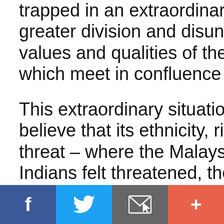trapped in an extraordinary situation of greater division and disunity, stagnation of values and qualities of the Islamic, Ch... which meet in confluence in Malaysia...
This extraordinary situation was one where every believe that its ethnicity, rights, culture was under threat – where the Malays felt threatened, the Indians felt threatened, the Kadazans felt threatened.
[Figure (infographic): Social sharing bar with four buttons: Facebook (blue), Twitter (light blue), Email/envelope (grey), and a plus/more button (orange-red)]